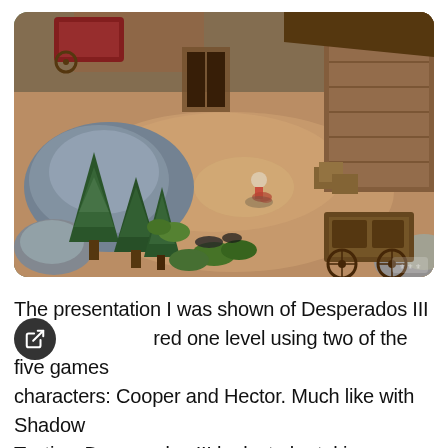[Figure (screenshot): Isometric view screenshot of Desperados III video game showing a Western setting with rocks, trees, wooden structures, a carriage, and a character in the center of a dusty terrain. A small logo watermark is visible in the bottom right corner.]
The presentation I was shown of Desperados III [covered] one level using two of the five games characters: Cooper and Hector. Much like with Shadow Tactics, Desperados III looks to be taking on a generally more stylistic approach aesthetically. This I